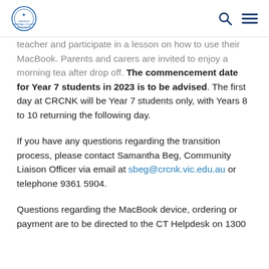Catholic Regional College North Keilor
teacher and participate in a lesson on how to use their MacBook. Parents and carers are invited to enjoy a morning tea after drop off. The commencement date for Year 7 students in 2023 is to be advised. The first day at CRCNK will be Year 7 students only, with Years 8 to 10 returning the following day.
If you have any questions regarding the transition process, please contact Samantha Beg, Community Liaison Officer via email at sbeg@crcnk.vic.edu.au or telephone 9361 5904.
Questions regarding the MacBook device, ordering or payment are to be directed to the CT Helpdesk on 1300 ...